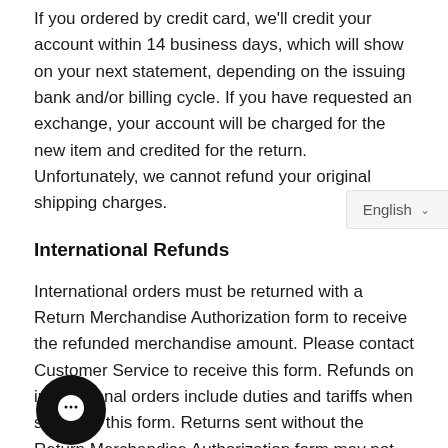If you ordered by credit card, we'll credit your account within 14 business days, which will show on your next statement, depending on the issuing bank and/or billing cycle. If you have requested an exchange, your account will be charged for the new item and credited for the return. Unfortunately, we cannot refund your original shipping charges.
International Refunds
International orders must be returned with a Return Merchandise Authorization form to receive the refunded merchandise amount. Please contact Customer Service to receive this form. Refunds on international orders include duties and tariffs when sent with this form. Returns sent without the Return Merchandise Authorization form may not be refunded the full amount. We cannot offer free returns or merchandise exchanges on orders shipped